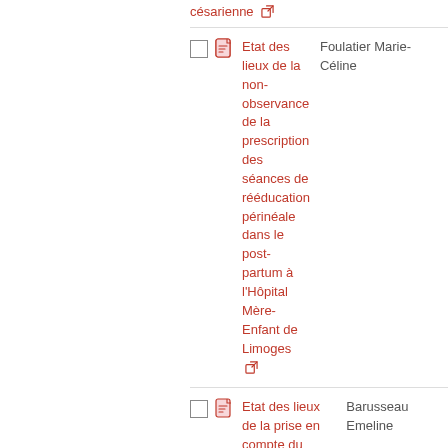césarienne [external link]
Etat des lieux de la non-observance de la prescription des séances de rééducation périnéale dans le post-partum à l'Hôpital Mère-Enfant de Limoges [external link] — Foulatier Marie-Céline
Etat des lieux de la prise en compte du projet de naissance en salle d'accouchement en Limousin [external link] — Barusseau Emeline
Etat des lieux de l'information retenue par les patientes qui — Hoarau Evelyne